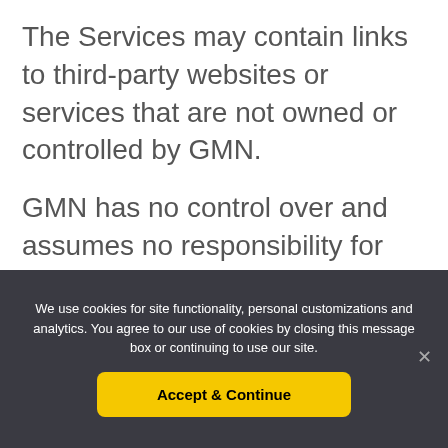The Services may contain links to third-party websites or services that are not owned or controlled by GMN.
GMN has no control over and assumes no responsibility for the Content, privacy policies, or practices of any third-party websites or
We use cookies for site functionality, personal customizations and analytics. You agree to our use of cookies by closing this message box or continuing to use our site.
Accept & Continue